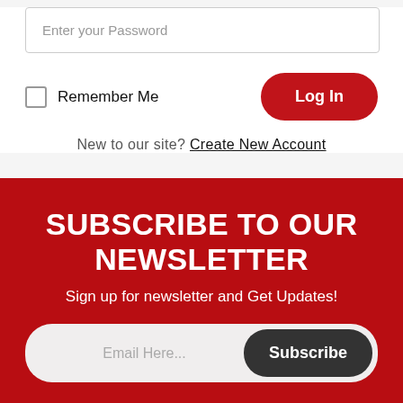Enter your Password
Remember Me
Log In
New to our site? Create New Account
SUBSCRIBE TO OUR NEWSLETTER
Sign up for newsletter and Get Updates!
Email Here...
Subscribe